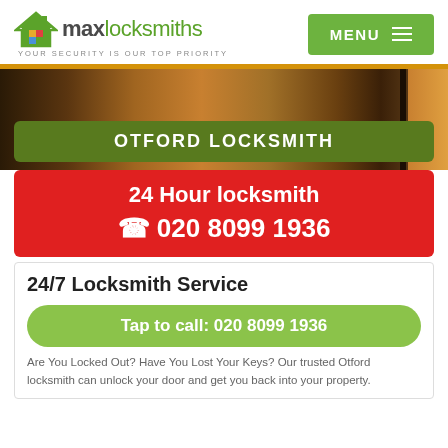[Figure (logo): Max Locksmiths logo with house icon and tagline 'YOUR SECURITY IS OUR TOP PRIORITY']
[Figure (screenshot): Navigation menu button with MENU label and hamburger icon on green background]
[Figure (photo): Background photo of a wooden door/locksmith setting in warm brown tones]
OTFORD LOCKSMITH
24 Hour locksmith ☎ 020 8099 1936
24/7 Locksmith Service
Tap to call: 020 8099 1936
Are You Locked Out? Have You Lost Your Keys? Our trusted Otford locksmith can unlock your door and get you back into your property.